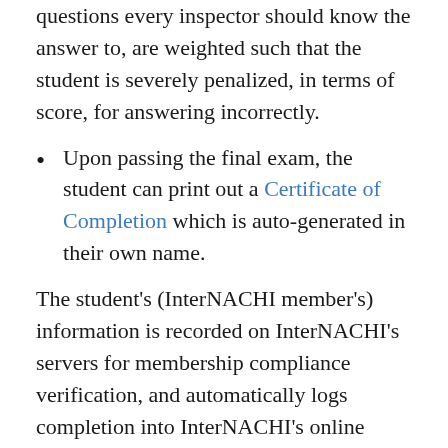questions every inspector should know the answer to, are weighted such that the student is severely penalized, in terms of score, for answering incorrectly.
Upon passing the final exam, the student can print out a Certificate of Completion which is auto-generated in their own name.
The student’s (InterNACHI member’s) information is recorded on InterNACHI’s servers for membership compliance verification, and automatically logs completion into InterNACHI’s online